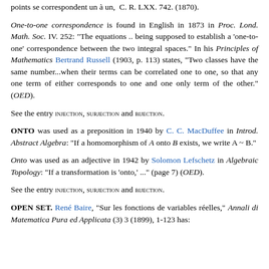points se correspondent un à un,  C. R. LXX. 742. (1870).
One-to-one correspondence is found in English in 1873 in Proc. Lond. Math. Soc. IV. 252: "The equations .. being supposed to establish a 'one-to-one' correspondence between the two integral spaces." In his Principles of Mathematics Bertrand Russell (1903, p. 113) states, "Two classes have the same number...when their terms can be correlated one to one, so that any one term of either corresponds to one and one only term of the other." (OED).
See the entry INJECTION, SURJECTION and BIJECTION.
ONTO was used as a preposition in 1940 by C. C. MacDuffee in Introd. Abstract Algebra: "If a homomorphism of A onto B exists, we write A ~ B."
Onto was used as an adjective in 1942 by Solomon Lefschetz in Algebraic Topology: "If a transformation is 'onto,' ..." (page 7) (OED).
See the entry INJECTION, SURJECTION and BIJECTION.
OPEN SET. René Baire, "Sur les fonctions de variables réelles," Annali di Matematica Pura ed Applicata (3) 3 (1899), 1-123 has: